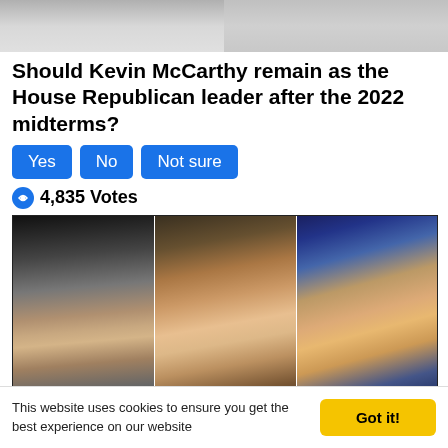[Figure (photo): Two people partially visible at top of page, cropped photo]
Should Kevin McCarthy remain as the House Republican leader after the 2022 midterms?
Yes
No
Not sure
4,835 Votes
[Figure (photo): Three politicians shown side by side: Joe Biden on left, Kamala Harris in center, Donald Trump on right. Small disclaimer text at bottom: PAID FOR BY THE NRCC AND NOT AUTHORIZED BY ANY CANDIDATE OR CANDIDATE'S COMMITTEE. WWW.NRCC.ORG]
This website uses cookies to ensure you get the best experience on our website
Got it!